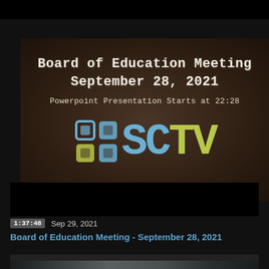[Figure (screenshot): Video thumbnail showing a chalkboard with 'Board of Education Meeting September 28, 2021' and 'Powerpoint Presentation Starts at 22:28' in chalk-style text, with the SCTV logo (grid squares in blue/green and letters SC in blue, TV in green)]
1:37:48   Sep 29, 2021
Board of Education Meeting - September 28, 2021
[Figure (photo): Partial second video thumbnail showing a dark interior scene]